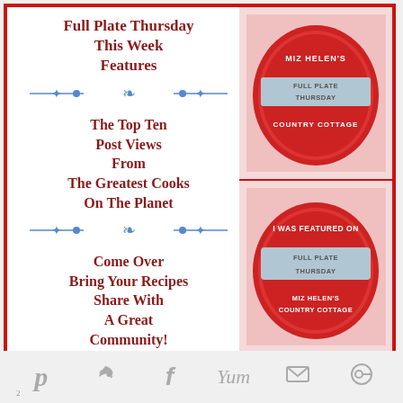Full Plate Thursday This Week Features
[Figure (illustration): Decorative blue flourish divider]
The Top Ten Post Views From The Greatest Cooks On The Planet
[Figure (illustration): Decorative blue flourish divider]
Come Over Bring Your Recipes Share With A Great Community!
[Figure (illustration): Decorative blue flourish divider]
[Figure (illustration): Red plate with text: MIZ HELEN'S FULL PLATE THURSDAY COUNTRY COTTAGE]
[Figure (illustration): Red plate with text: I WAS FEATURED ON FULL PLATE THURSDAY MIZ HELEN'S COUNTRY COTTAGE]
p  (bird icon)  f  Yum  (mail icon)  (share icon)  2